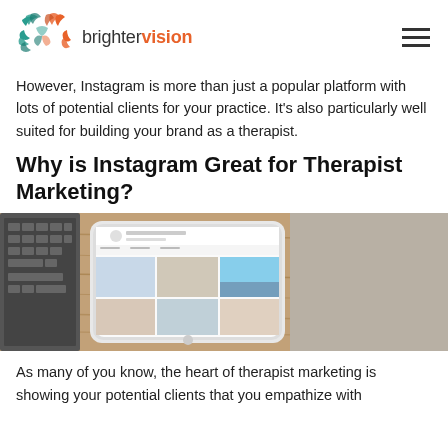brighter vision
However, Instagram is more than just a popular platform with lots of potential clients for your practice. It's also particularly well suited for building your brand as a therapist.
Why is Instagram Great for Therapist Marketing?
[Figure (photo): A smartphone showing an Instagram profile page, lying on a wooden surface next to a laptop keyboard]
As many of you know, the heart of therapist marketing is showing your potential clients that you empathize with